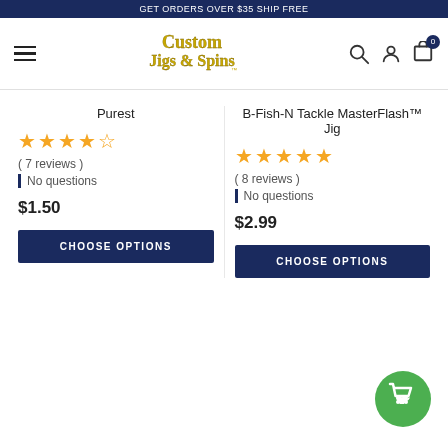GET ORDERS OVER $35 SHIP FREE
[Figure (logo): Custom Jigs & Spins logo with hamburger menu, search, account, and cart icons]
Purest
[Figure (other): 4.5 star rating for Purest]
( 7 reviews )
| No questions
$1.50
CHOOSE OPTIONS
B-Fish-N Tackle MasterFlash™ Jig
[Figure (other): 5 star rating for B-Fish-N Tackle MasterFlash Jig]
( 8 reviews )
| No questions
$2.99
CHOOSE OPTIONS